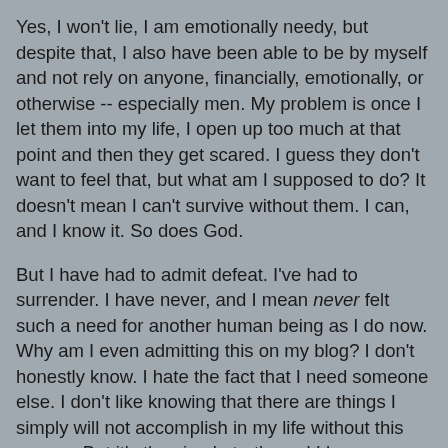Yes, I won't lie, I am emotionally needy, but despite that, I also have been able to be by myself and not rely on anyone, financially, emotionally, or otherwise -- especially men. My problem is once I let them into my life, I open up too much at that point and then they get scared. I guess they don't want to feel that, but what am I supposed to do? It doesn't mean I can't survive without them. I can, and I know it. So does God.
But I have had to admit defeat. I've had to surrender. I have never, and I mean never felt such a need for another human being as I do now. Why am I even admitting this on my blog? I don't honestly know. I hate the fact that I need someone else. I don't like knowing that there are things I simply will not accomplish in my life without this person. But it's the simple truth, and I have surrendered to it.
I have never needed a man in such a spiritual manner as this. The need I have for Jeremy surpasses any physical or emotional needs I have ever had or required to be met. This is so very different, and leaves me utterly vulnerable. But I do need him, and I feel deep down he needs me too. Why I fight it; I do not know. I guess I would like to think that I can